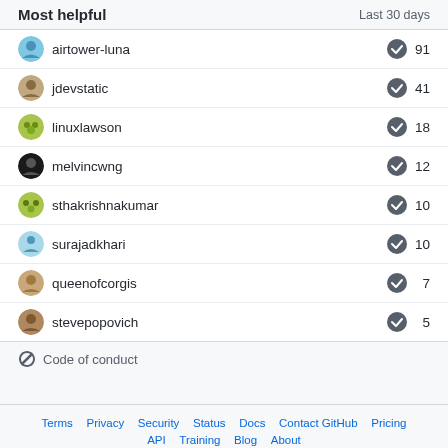Most helpful
Last 30 days
airtower-luna 91
jdevstatic 41
linuxlawson 18
melvincwng 12
sthakrishnakumar 10
surajadkhari 10
queenofcorgis 7
stevepopovich 5
Code of conduct
Terms  Privacy  Security  Status  Docs  Contact GitHub  Pricing  API  Training  Blog  About  © 2022 GitHub, Inc.